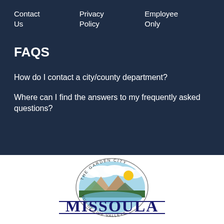Contact Us   Privacy Policy   Employee Only
FAQS
How do I contact a city/county department?
Where can I find the answers to my frequently asked questions?
[Figure (logo): City of Missoula logo — circular seal with mountain and sun scene, text 'The Garden City' around top arc and 'Hub of Five Valleys' around bottom arc, with 'MISSOULA' in large text across center]